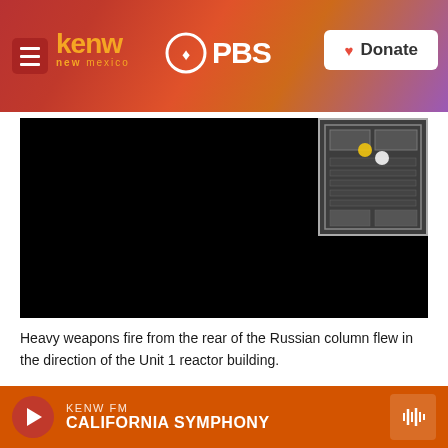KENW New Mexico PBS | Donate
[Figure (screenshot): Black video player frame with nuclear power plant map overlay in top-right corner showing satellite/schematic view with yellow and white markers indicating Unit 1 reactor building location]
Heavy weapons fire from the rear of the Russian column flew in the direction of the Unit 1 reactor building.
Credit: Zaporizhzhia Nuclear Power Plant. Annotations by NPR.
KENW FM CALIFORNIA SYMPHONY